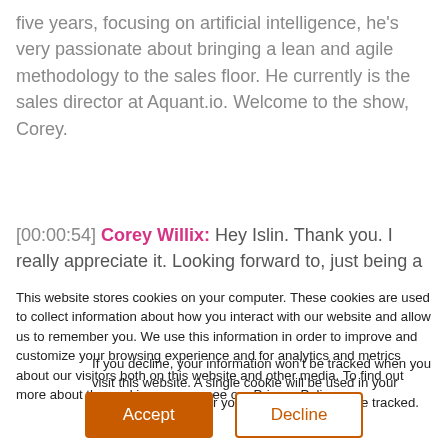five years, focusing on artificial intelligence, he's very passionate about bringing a lean and agile methodology to the sales floor. He currently is the sales director at Aquant.io. Welcome to the show, Corey.
[00:00:54] Corey Willix: Hey Islin. Thank you. I really appreciate it. Looking forward to, just being a part of
This website stores cookies on your computer. These cookies are used to collect information about how you interact with our website and allow us to remember you. We use this information in order to improve and customize your browsing experience and for analytics and metrics about our visitors both on this website and other media. To find out more about the cookies we use, see our Privacy Policy.
If you decline, your information won't be tracked when you visit this website. A single cookie will be used in your browser to remember your preference not to be tracked.